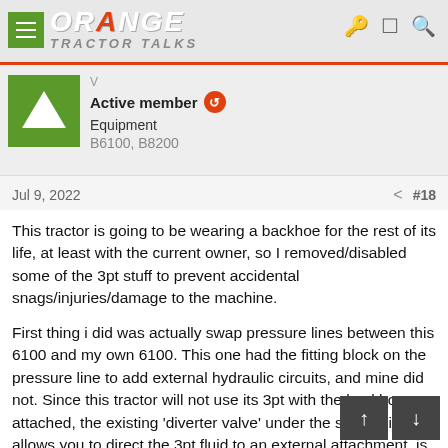ORANGE TRACTOR TALKS
Active member
Equipment
B6100, B8200
Jul 9, 2022  #18
This tractor is going to be wearing a backhoe for the rest of its life, at least with the current owner, so I removed/disabled some of the 3pt stuff to prevent accidental snags/injuries/damage to the machine.
First thing i did was actually swap pressure lines between this 6100 and my own 6100. This one had the fitting block on the pressure line to add external hydraulic circuits, and mine did not. Since this tractor will not use its 3pt with the backhoe attached, the existing 'diverter valve' under the seat which allows you to direct the 3pt fluid to an external attachment, is the only 'pressure tap' point that would ever be needed in this tractor will not use its 3pt lift AND an external attachment. One less point for leaks, too.